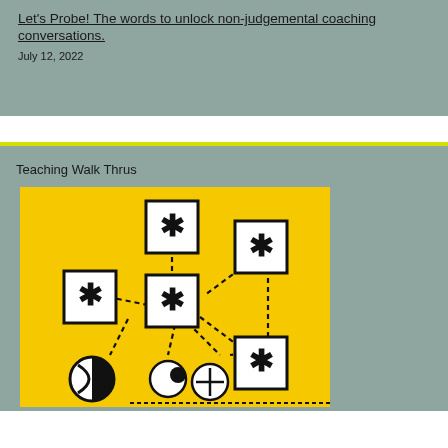Let's Probe! The words to unlock non-judgemental coaching conversations.
July 12, 2022
Teaching Walk Thrus
[Figure (illustration): Yellow background illustration showing a network/flowchart of dashed lines connecting several white squares each containing a bold asterisk symbol, with stylized abstract figures at the bottom.]